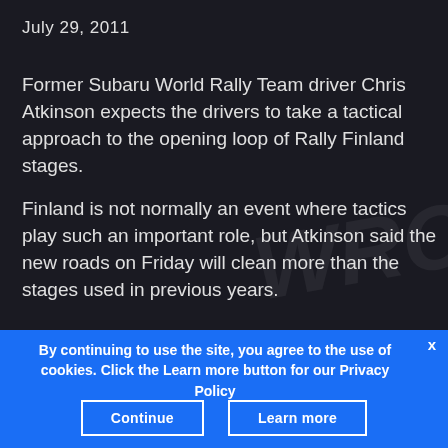July 29, 2011
Former Subaru World Rally Team driver Chris Atkinson expects the drivers to take a tactical approach to the opening loop of Rally Finland stages.
Finland is not normally an event where tactics play such an important role, but Atkinson said the new roads on Friday will clean more than the stages used in previous years.
By continuing to use the site, you agree to the use of cookies. Click the Learn more button for our Privacy Policy
Continue
Learn more